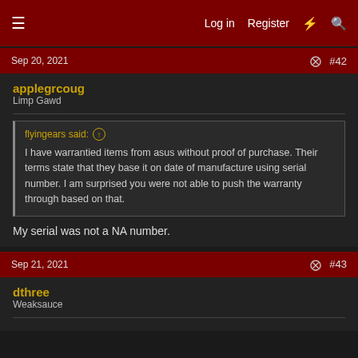Log in  Register  [icon] [icon]
Sep 20, 2021  #42
applegrcoug
Limp Gawd
flyingears said: ↑
I have warrantied items from asus without proof of purchase. Their terms state that they base it on date of manufacture using serial number. I am surprised you were not able to push the warranty through based on that.
My serial was not a NA number.
Sep 21, 2021  #43
dthree
Weaksauce